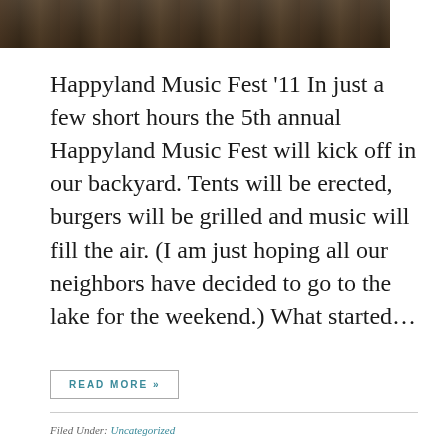[Figure (photo): Partial photo strip at top showing people at an outdoor event, dark/shadowed image cropped at the top of the page]
Happyland Music Fest '11 In just a few short hours the 5th annual Happyland Music Fest will kick off in our backyard. Tents will be erected, burgers will be grilled and music will fill the air. (I am just hoping all our neighbors have decided to go to the lake for the weekend.) What started...
READ MORE »
Filed Under: Uncategorized